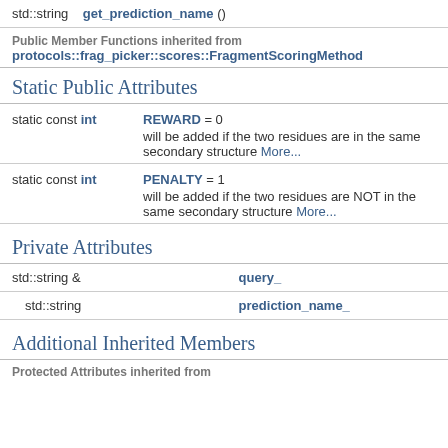std::string &   get_prediction_name ()
Public Member Functions inherited from protocols::frag_picker::scores::FragmentScoringMethod
Static Public Attributes
| type | name/description |
| --- | --- |
| static const int | REWARD = 0
will be added if the two residues are in the same secondary structure More... |
| static const int | PENALTY = 1
will be added if the two residues are NOT in the same secondary structure More... |
Private Attributes
| type | name |
| --- | --- |
| std::string & | query_ |
| std::string | prediction_name_ |
Additional Inherited Members
Protected Attributes inherited from